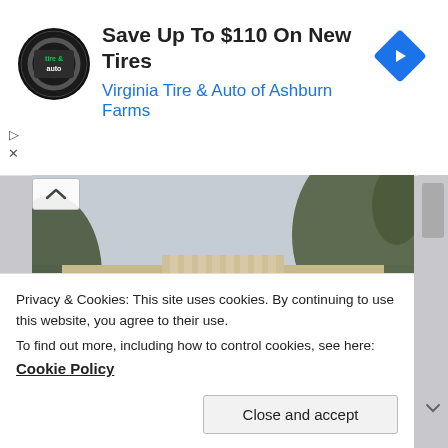[Figure (screenshot): Ad banner: Virginia Tire & Auto of Ashburn Farms. Save Up To $110 On New Tires. Circular logo with 'tire & auto' text and a blue navigation arrow icon on the right.]
[Figure (photo): Photograph of a tan/beige multi-story institutional or school building with large windows, decorative columns, green hedges along the front, and trees surrounding it.]
Privacy & Cookies: This site uses cookies. By continuing to use this website, you agree to their use.
To find out more, including how to control cookies, see here: Cookie Policy
Close and accept